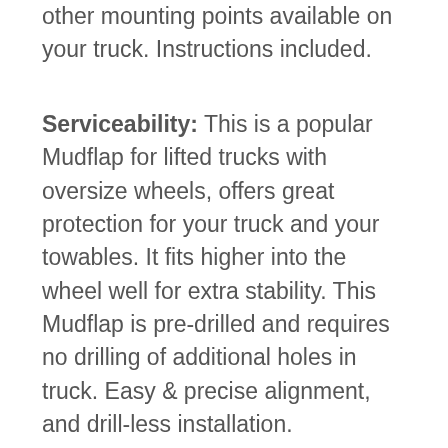other mounting points available on your truck. Instructions included.
Serviceability: This is a popular Mudflap for lifted trucks with oversize wheels, offers great protection for your truck and your towables. It fits higher into the wheel well for extra stability. This Mudflap is pre-drilled and requires no drilling of additional holes in truck. Easy & precise alignment, and drill-less installation.